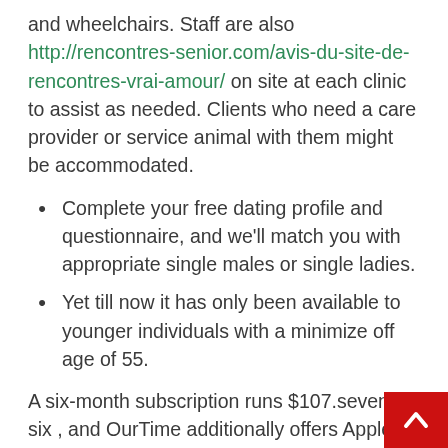and wheelchairs. Staff are also http://rencontres-senior.com/avis-du-site-de-rencontres-vrai-amour/ on site at each clinic to assist as needed. Clients who need a care provider or service animal with them might be accommodated.
Complete your free dating profile and questionnaire, and we'll match you with appropriate single males or single ladies.
Yet till now it has only been available to younger individuals with a minimize off age of 55.
A six-month subscription runs $107.seventy six , and OurTime additionally offers Apple App Store and Google Play cell apps. Indeed, if you're dating as a single parent – or if you're the one open to dating a single mother or dad then you'll find singles who swimsuit you on our website